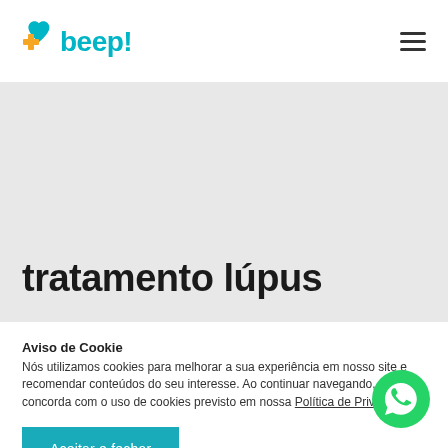[Figure (logo): Beep! health brand logo with teal text and medical cross icon]
tratamento lúpus
Aviso de Cookie
Nós utilizamos cookies para melhorar a sua experiência em nosso site e recomendar conteúdos do seu interesse. Ao continuar navegando, você concorda com o uso de cookies previsto em nossa Política de Privacidade.
Aceitar e fechar